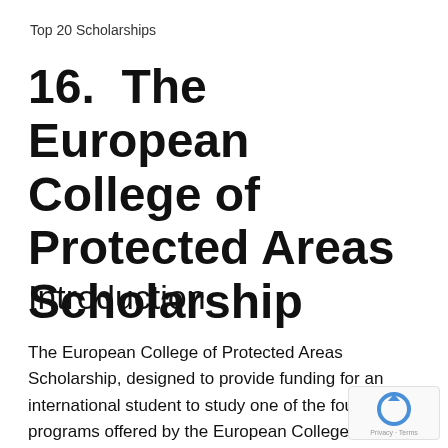Top 20 Scholarships
16.  The European College of Protected Areas Scholarship
Introduction
The European College of Protected Areas Scholarship, designed to provide funding for an international student to study one of the four master's programs offered by the European College of Protected Areas, is available to students of higher education. The bachelor's degree must be completed